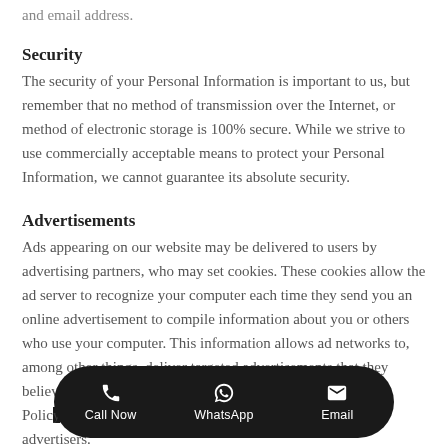and email address.
Security
The security of your Personal Information is important to us, but remember that no method of transmission over the Internet, or method of electronic storage is 100% secure. While we strive to use commercially acceptable means to protect your Personal Information, we cannot guarantee its absolute security.
Advertisements
Ads appearing on our website may be delivered to users by advertising partners, who may set cookies. These cookies allow the ad server to recognize your computer each time they send you an online advertisement to compile information about you or others who use your computer. This information allows ad networks to, among other things, deliver targeted advertisements that they believe will be of most interest to you. This Privacy Policy does not cover the use of cookies by any advertisers.
[Figure (infographic): Bottom navigation bar with Call Now, WhatsApp, and Email buttons on a black rounded rectangle overlay]